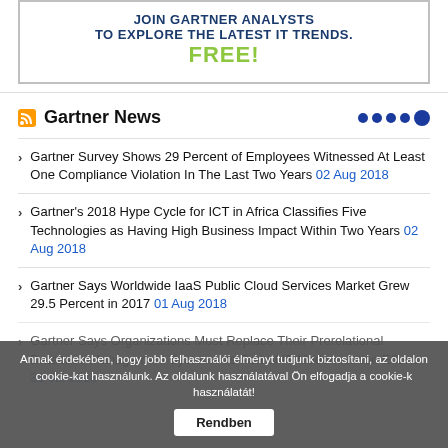[Figure (infographic): Gartner promotional banner: JOIN GARTNER ANALYSTS TO EXPLORE THE LATEST IT TRENDS. FREE!]
Gartner News
Gartner Survey Shows 29 Percent of Employees Witnessed At Least One Compliance Violation In The Last Two Years 02 Aug 2018
Gartner's 2018 Hype Cycle for ICT in Africa Classifies Five Technologies as Having High Business Impact Within Two Years 02 Aug 2018
Gartner Says Worldwide IaaS Public Cloud Services Market Grew 29.5 Percent in 2017 01 Aug 2018
Gartner Says Organizations Must Replace Their Prerelational Database Management Systems as Part of IT Modernization Efforts 31 Jul 2018
Annak érdekében, hogy jobb felhasználói élményt tudjunk biztosítani, az oldalon cookie-kat használunk. Az oldalunk használatával Ön elfogadja a cookie-k használatát! Rendben